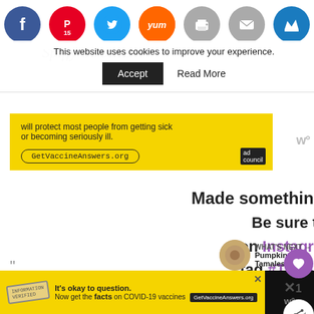[Figure (screenshot): Top navigation bar with social media icons: Facebook (blue), Pinterest (red, 15), Twitter (blue), Yum (orange), Print (gray), Mail (gray), Crown (blue)]
This website uses cookies to improve your experience.
Accept   Read More
[Figure (screenshot): Yellow advertisement banner with text 'will protect most people from getting sick or becoming seriously ill.' and GetVaccineAnswers.org URL with ad council logo]
Made something from the blog?

Be sure to share it

on Instagram with the

tag #TheSpiffyCookie
[Figure (screenshot): What's Next widget showing circular food image and text 'Pumpkin Pie Tamales']
"
[Figure (screenshot): Bottom advertisement bar on black background with yellow section: vaccine stamp, 'It's okay to question. Now get the facts on COVID-19 vaccines GetVaccineAnswers.org' and X buttons on right dark section]